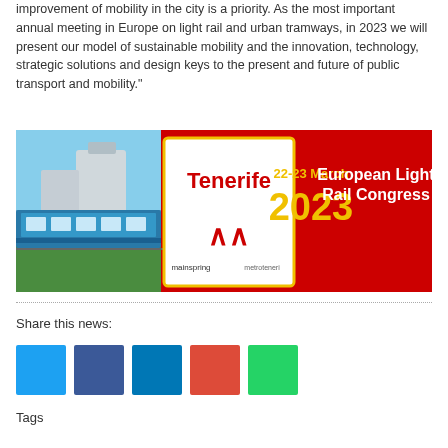improvement of mobility in the city is a priority. As the most important annual meeting in Europe on light rail and urban tramways, in 2023 we will present our model of sustainable mobility and the innovation, technology, strategic solutions and design keys to the present and future of public transport and mobility."
[Figure (illustration): Tenerife European Light Rail Congress banner - 22-23 March 2023, showing a blue tram, congress title, date, and logos for mainspring and metroteneri]
Share this news:
[Figure (infographic): Five social media sharing icon buttons: Twitter (light blue), Facebook (dark blue), LinkedIn (medium blue), Google+ / email (red-orange), WhatsApp (green)]
Tags